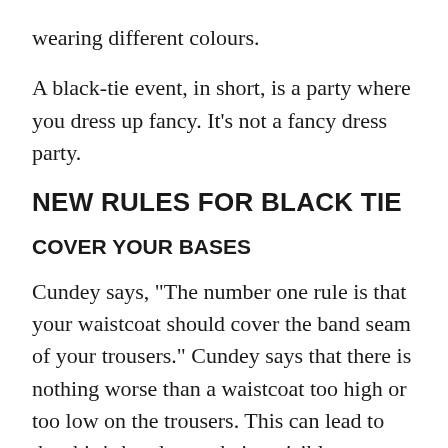wearing different colours.
A black-tie event, in short, is a party where you dress up fancy. It’s not a fancy dress party.
NEW RULES FOR BLACK TIE
COVER YOUR BASES
Cundey says, “The number one rule is that your waistcoat should cover the band seam of your trousers.” Cundey says that there is nothing worse than a waistcoat too high or too low on the trousers. This can lead to the shirt’s band seam being visible.
If your dinner suit does not have a third